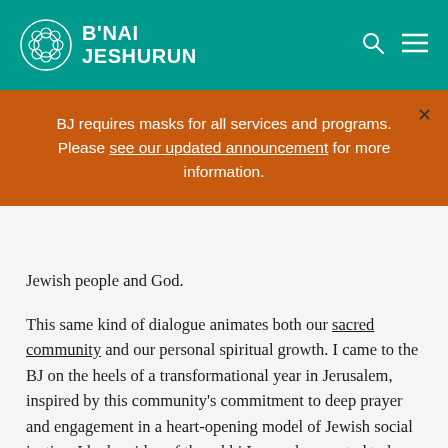B'NAI JESHURUN
BJ requires masks for all services and programs. Please see our updated announcement for more information.
Jewish people and God.
This same kind of dialogue animates both our sacred community and our personal spiritual growth. I came to the BJ on the heels of a transformational year in Jerusalem, inspired by this community's commitment to deep prayer and engagement in a heart-opening model of Jewish social justice. I had an idea of the rabbi I someday wanted to be, but I was desperately unsure of how to grow into becoming her. Two years of sacred dialogue among the rabbi here...